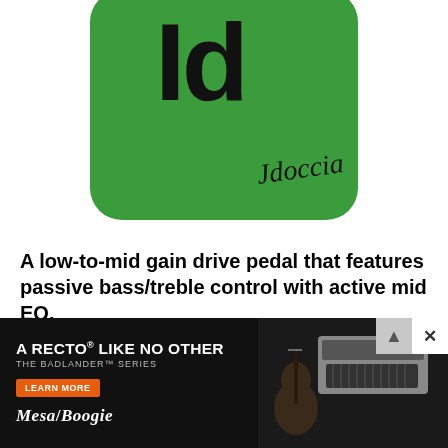[Figure (photo): Green guitar effects pedal with 'Id' written in large black text and a cursive 'Jdoccia' signature, photographed from above on a white background.]
A low-to-mid gain drive pedal that features passive bass/treble control with active mid EQ.
Bolton, CT (November 16, 2015) -- JColoccia Guitars introduces the Id overdrive, a low to medium gain, responsive overdrive that's right at home boosting a dirty amp or on it's own.
A powerful 3-band EQ allows you gently dial things in just right without completely trampling your bypassed signal. The ac... sing on th... your tone. A... fattening up single coils and bringing clarity to
[Figure (screenshot): Black advertisement overlay for Mesa/Boogie Badlander Series amplifier. Shows text 'A RECTO LIKE NO OTHER', 'THE BADLANDER SERIES', a Learn More button, and Mesa/Boogie logo on the left side, with a photo of a guitar amplifier head and electric guitar on the right side. Has an X close button.]